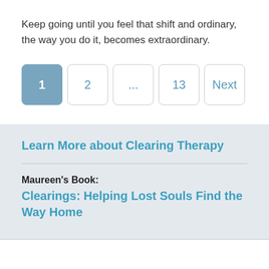Keep going until you feel that shift and ordinary, the way you do it, becomes extraordinary.
1  2  ...  13  Next
Learn More about Clearing Therapy
Maureen's Book:
Clearings: Helping Lost Souls Find the Way Home